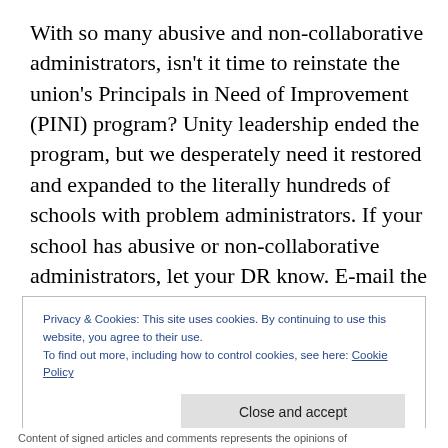With so many abusive and non-collaborative administrators, isn't it time to reinstate the union's Principals in Need of Improvement (PINI) program? Unity leadership ended the program, but we desperately need it restored and expanded to the literally hundreds of schools with problem administrators. If your school has abusive or non-collaborative administrators, let your DR know. E-mail the leadership, remind them that we need PINI back. And contact New Action/UFT.
Privacy & Cookies: This site uses cookies. By continuing to use this website, you agree to their use.
To find out more, including how to control cookies, see here: Cookie Policy
Close and accept
Content of signed articles and comments represents the opinions of